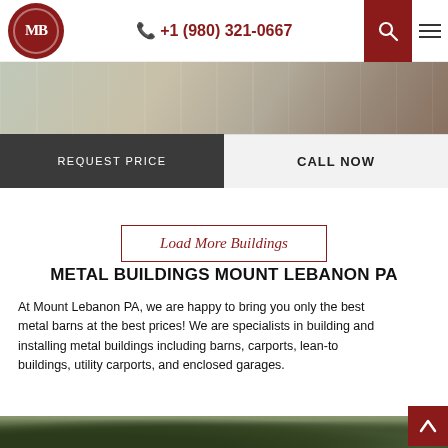[Figure (logo): CMB logo — red circle with MB letters in white]
+1 (980) 321-0667
[Figure (screenshot): Header strip showing interior of a metal building]
REQUEST PRICE
CALL NOW
Load More Buildings
METAL BUILDINGS MOUNT LEBANON PA
At Mount Lebanon PA, we are happy to bring you only the best metal barns at the best prices! We are specialists in building and installing metal buildings including barns, carports, lean-to buildings, utility carports, and enclosed garages.
[Figure (photo): Outdoor photo showing trees and metal building structure at bottom of page]